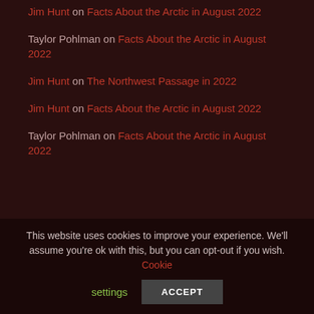Jim Hunt on Facts About the Arctic in August 2022
Taylor Pohlman on Facts About the Arctic in August 2022
Jim Hunt on The Northwest Passage in 2022
Jim Hunt on Facts About the Arctic in August 2022
Taylor Pohlman on Facts About the Arctic in August 2022
Archives
This website uses cookies to improve your experience. We'll assume you're ok with this, but you can opt-out if you wish. Cookie settings ACCEPT